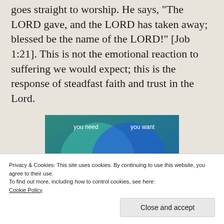goes straight to worship. He says, "The LORD gave, and the LORD has taken away; blessed be the name of the LORD!" [Job 1:21]. This is not the emotional reaction to suffering we would expect; this is the response of steadfast faith and trust in the Lord.
[Figure (infographic): Venn diagram showing two overlapping circles on a teal/blue gradient background. Left circle labeled 'you need' (teal), right circle labeled 'you want' (blue).]
Privacy & Cookies: This site uses cookies. By continuing to use this website, you agree to their use.
To find out more, including how to control cookies, see here:
Cookie Policy